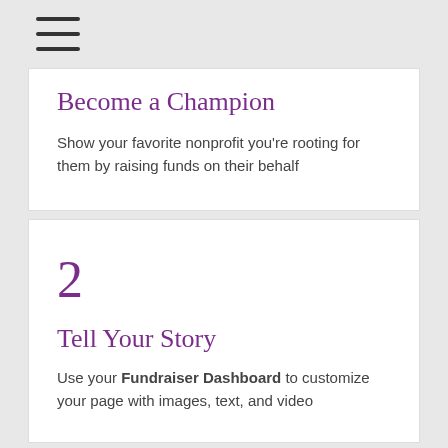≡
Become a Champion
Show your favorite nonprofit you're rooting for them by raising funds on their behalf
2
Tell Your Story
Use your Fundraiser Dashboard to customize your page with images, text, and video
3